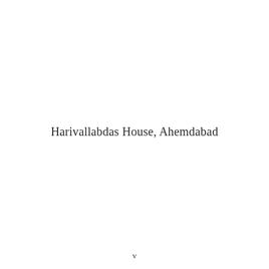Harivallabdas House, Ahemdabad
v